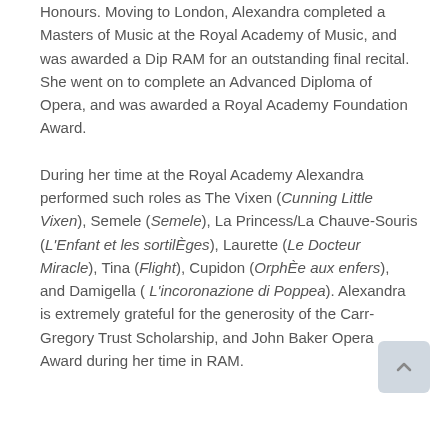Honours. Moving to London, Alexandra completed a Masters of Music at the Royal Academy of Music, and was awarded a Dip RAM for an outstanding final recital. She went on to complete an Advanced Diploma of Opera, and was awarded a Royal Academy Foundation Award.

During her time at the Royal Academy Alexandra performed such roles as The Vixen (Cunning Little Vixen), Semele (Semele), La Princess/La Chauve-Souris (L'Enfant et les sortilÈges), Laurette (Le Docteur Miracle), Tina (Flight), Cupidon (OrphÈe aux enfers), and Damigella ( L'incoronazione di Poppea). Alexandra is extremely grateful for the generosity of the Carr-Gregory Trust Scholarship, and John Baker Opera Award during her time in RAM.